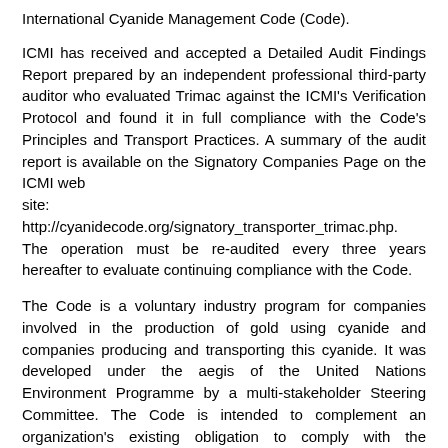International Cyanide Management Code (Code).
ICMI has received and accepted a Detailed Audit Findings Report prepared by an independent professional third-party auditor who evaluated Trimac against the ICMI's Verification Protocol and found it in full compliance with the Code's Principles and Transport Practices. A summary of the audit report is available on the Signatory Companies Page on the ICMI web site: http://cyanidecode.org/signatory_transporter_trimac.php. The operation must be re-audited every three years hereafter to evaluate continuing compliance with the Code.
The Code is a voluntary industry program for companies involved in the production of gold using cyanide and companies producing and transporting this cyanide. It was developed under the aegis of the United Nations Environment Programme by a multi-stakeholder Steering Committee. The Code is intended to complement an organization's existing obligation to comply with the applicable laws and regulations of the political jurisdictions in which the organization is located.